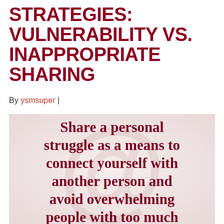STRATEGIES: VULNERABILITY VS. INAPPROPRIATE SHARING
By ysmsuper |
[Figure (illustration): Decorative background image with a blurred @ symbol watermark and a light pink/beige tone, with overlaid bold serif quote text in dark red: 'Share a personal struggle as a means to connect yourself with another person and avoid overwhelming people with too much story.']